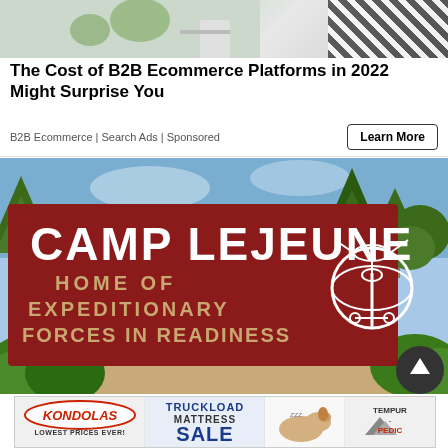[Figure (photo): Top portion of a photo showing a person in a zebra-striped garment, partially cropped]
The Cost of B2B Ecommerce Platforms in 2022 Might Surprise You
B2B Ecommerce | Search Ads | Sponsored
[Figure (illustration): Illustration of Camp Lejeune entrance sign reading 'CAMP LEJEUNE HOME OF EXPEDITIONARY FORCES IN READINESS' with Marine Corps emblem, surrounded by illustrated trees and sky]
[Figure (photo): Bottom advertisement banner for Kondolas Truckload Mattress Sale featuring Tempur-Pedic brand, with sleeping dog image. Text: KONDOLAS LOWEST PRICES EVER! TRUCKLOAD MATTRESS SALE TEMPUR-PEDIC]